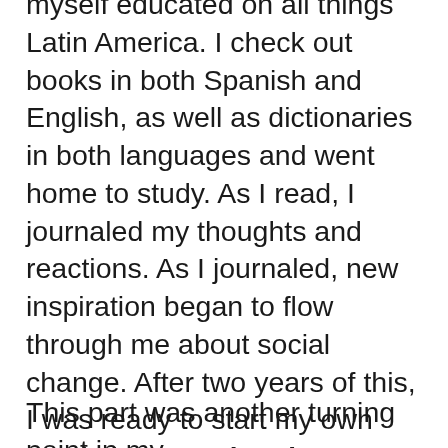myself educated on all things Latin America. I check out books in both Spanish and English, as well as dictionaries in both languages and went home to study. As I read, I journaled my thoughts and reactions. As I journaled, new inspiration began to flow through me about social change. After two years of this, I was ready to start my own revolution. Dead serious. Luckily, I didn't have to because someone else was already doing it – the Zapatistas in Chiapas, Mexico. What I did instead was walk out of my life and go live in the jungle with them.
This part was another turning point in my